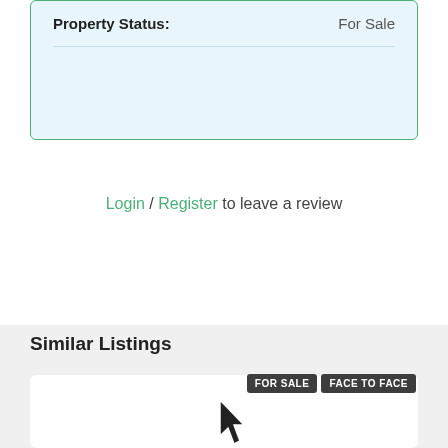| Property Status: | For Sale |
| --- | --- |
Login / Register to leave a review
Similar Listings
[Figure (screenshot): Two dark badges reading FOR SALE and FACE TO FACE with a cursor arrow pointing at them]